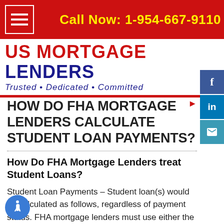Call Now: 1-954-667-9110
[Figure (logo): US Mortgage Lenders logo with tagline Trusted • Dedicated • Committed]
[Figure (infographic): Social media sidebar with Facebook, LinkedIn, and email icons]
HOW DO FHA MORTGAGE LENDERS CALCULATE STUDENT LOAN PAYMENTS?
How Do FHA Mortgage Lenders treat Student Loans?
Student Loan Payments – Student loan(s) would be calculated as follows, regardless of payment status. FHA mortgage lenders must use either the greater of: 1% of the